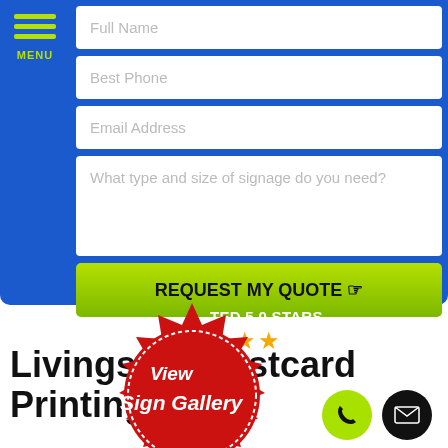[Figure (screenshot): Website screenshot showing a contact/quote form with blue background, menu icon, form fields for Full Name, Best Phone, Email Address, and signage inquiry, a green REQUEST MY QUOTE button, a red seal badge saying View Sign Gallery CLICK HERE, a 5.0 stars rating section, and a title Livingston Postcard Printing with phone and email buttons.]